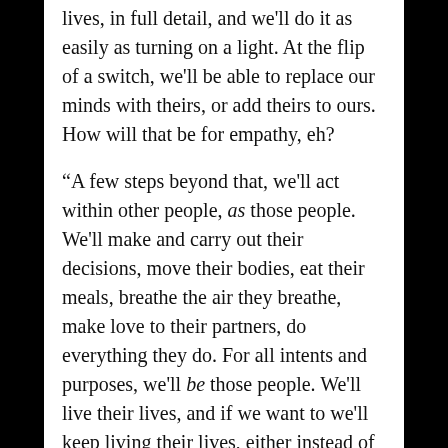lives, in full detail, and we'll do it as easily as turning on a light. At the flip of a switch, we'll be able to replace our minds with theirs, or add theirs to ours. How will that be for empathy, eh?
“A few steps beyond that, we'll act within other people, as those people. We'll make and carry out their decisions, move their bodies, eat their meals, breathe the air they breathe, make love to their partners, do everything they do. For all intents and purposes, we'll be those people. We'll live their lives, and if we want to we'll keep living their lives, either instead of or in addition to them being them and us being ourselves.
“Then there’s the matter of immortality. Our engineering will reach a point where we can keep people living, and living, functioning indefinitely